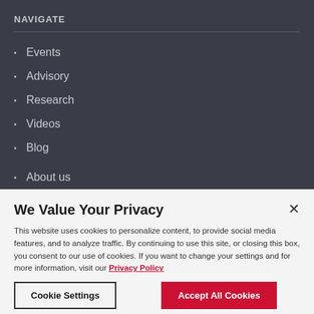NAVIGATE
Events
Advisory
Research
Videos
Blog
About us
Contact Information
We Value Your Privacy
This website uses cookies to personalize content, to provide social media features, and to analyze traffic. By continuing to use this site, or closing this box, you consent to our use of cookies. If you want to change your settings and for more information, visit our Privacy Policy
Cookie Settings
Accept All Cookies